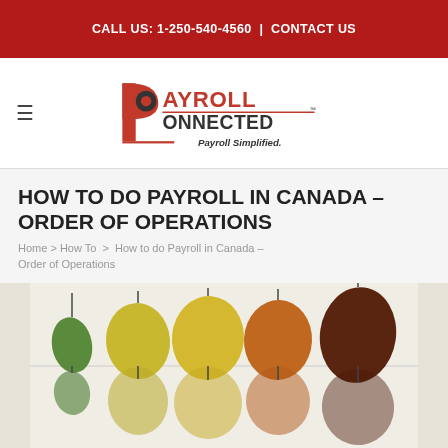CALL US: 1-250-540-4560 | CONTACT US
[Figure (logo): Payroll Connected logo with red P icon and text 'PAYROLL CONNECTED Payroll Simplified.']
HOW TO DO PAYROLL IN CANADA – ORDER OF OPERATIONS
Home > How To > How to do Payroll in Canada – Order of Operations
[Figure (photo): A row of leaves in various stages of autumn color change, from green to dark brown, displayed against a white background with their reflections visible.]